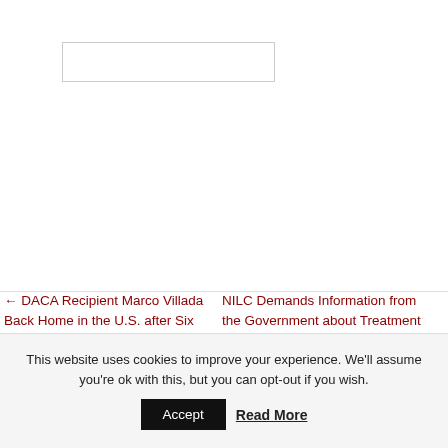[Figure (other): Empty search input box with border]
← DACA Recipient Marco Villada Back Home in the U.S. after Six
NILC Demands Information from the Government about Treatment
This website uses cookies to improve your experience. We'll assume you're ok with this, but you can opt-out if you wish.
Accept  Read More